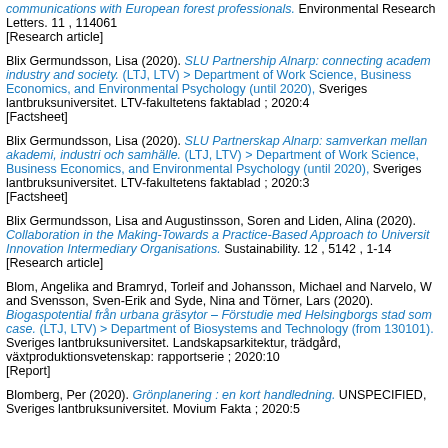communications with European forest professionals. Environmental Research Letters. 11 , 114061 [Research article]
Blix Germundsson, Lisa (2020). SLU Partnership Alnarp: connecting academia, industry and society. (LTJ, LTV) > Department of Work Science, Business Economics, and Environmental Psychology (until 2020), Sveriges lantbruksuniversitet. LTV-fakultetens faktablad ; 2020:4 [Factsheet]
Blix Germundsson, Lisa (2020). SLU Partnerskap Alnarp: samverkan mellan akademi, industri och samhälle. (LTJ, LTV) > Department of Work Science, Business Economics, and Environmental Psychology (until 2020), Sveriges lantbruksuniversitet. LTV-fakultetens faktablad ; 2020:3 [Factsheet]
Blix Germundsson, Lisa and Augustinsson, Soren and Liden, Alina (2020). Collaboration in the Making-Towards a Practice-Based Approach to University Innovation Intermediary Organisations. Sustainability. 12 , 5142 , 1-14 [Research article]
Blom, Angelika and Bramryd, Torleif and Johansson, Michael and Narvelo, W and Svensson, Sven-Erik and Syde, Nina and Törner, Lars (2020). Biogaspotential från urbana gräsytor – Förstudie med Helsingborgs stad som case. (LTJ, LTV) > Department of Biosystems and Technology (from 130101). Sveriges lantbruksuniversitet. Landskapsarkitektur, trädgård, växtproduktionsvetenskap: rapportserie ; 2020:10 [Report]
Blomberg, Per (2020). Grönplanering : en kort handledning. UNSPECIFIED, Sveriges lantbruksuniversitet. Movium Fakta ; 2020:5